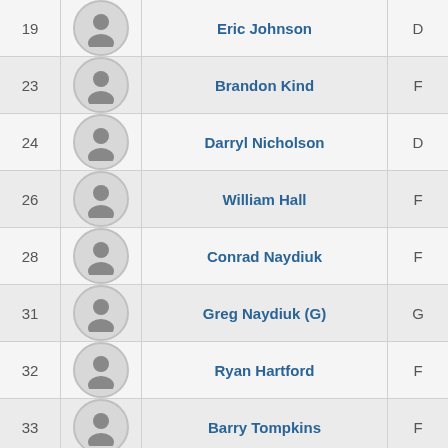| # | Photo | Name | Position |
| --- | --- | --- | --- |
| 19 |  | Eric Johnson | D |
| 23 |  | Brandon Kind | F |
| 24 |  | Darryl Nicholson | D |
| 26 |  | William Hall | F |
| 28 |  | Conrad Naydiuk | F |
| 31 |  | Greg Naydiuk (G) | G |
| 32 |  | Ryan Hartford | F |
| 33 |  | Barry Tompkins | F |